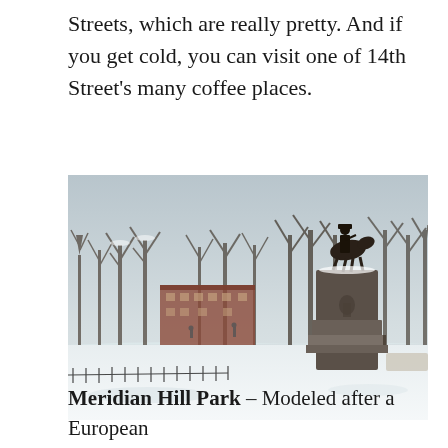Streets, which are really pretty. And if you get cold, you can visit one of 14th Street's many coffee places.
[Figure (photo): Winter photograph of Meridian Hill Park in Washington DC. A snow-covered park with bare trees and a large equestrian statue on a tall pedestal on the right side. Red brick buildings are visible in the background. A few people are walking in the snow-covered park.]
Meridian Hill Park – Modeled after a European